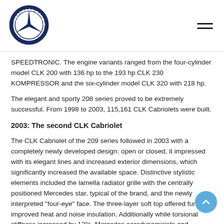[Figure (logo): Mercedes-Benz Club of America circular logo with three-pointed star]
SPEEDTRONIC. The engine variants ranged from the four-cylinder model CLK 200 with 136 hp to the 193 hp CLK 230 KOMPRESSOR and the six-cylinder model CLK 320 with 218 hp.
The elegant and sporty 208 series proved to be extremely successful. From 1998 to 2003, 115,161 CLK Cabriolets were built.
2003: The second CLK Cabriolet
The CLK Cabriolet of the 209 series followed in 2003 with a completely newly developed design: open or closed, it impressed with its elegant lines and increased exterior dimensions, which significantly increased the available space. Distinctive stylistic elements included the lamella radiator grille with the centrally positioned Mercedes star, typical of the brand, and the newly interpreted "four-eye" face. The three-layer soft top offered further improved heat and noise insulation. Additionally while torsional stiffness increased by 12%, Mercedes aerodynamicists and designers succeeded in reducing the drag coefficient to 0.30 – a